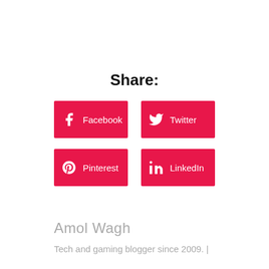Share:
[Figure (infographic): Four social media share buttons arranged in a 2x2 grid: Facebook, Twitter, Pinterest, LinkedIn — all with crimson/red backgrounds and white icons and text.]
Amol Wagh
Tech and gaming blogger since 2009. |